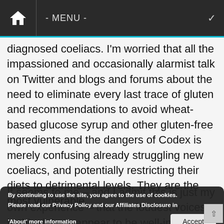- MENU -
diagnosed coeliacs. I'm worried that all the impassioned and occasionally alarmist talk on Twitter and blogs and forums about the need to eliminate every last trace of gluten and recommendations to avoid wheat-based glucose syrup and other gluten-free ingredients and the dangers of Codex is merely confusing already struggling new coeliacs, and potentially restricting their diets to detrimental levels. They are the most vulnerable.
It seems to me – and I admit this is just my own experience – that the loudest voices in this debate appear to be well-informed and often highly gluten-sensitive coeliacs who largely cook for themselves from scratch,
By continuing to use the site, you agree to the use of cookies. Please read our Privacy Policy and our Affiliates Disclosure in 'About' more information
Accept